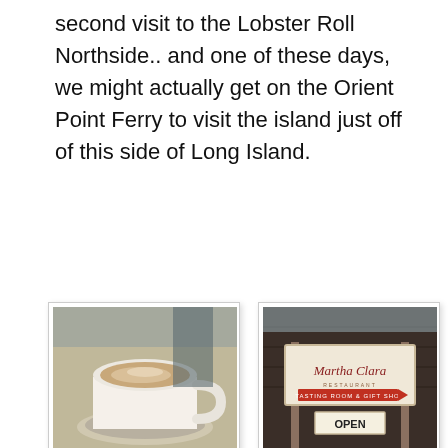second visit to the Lobster Roll Northside.. and one of these days, we might actually get on the Orient Point Ferry to visit the island just off of this side of Long Island.
[Figure (photo): A white ceramic cup/bowl of creamy soup or latte on a saucer, photographed from above at a slight angle]
[Figure (photo): A wooden sign for Martha Clara restaurant/vineyard with an OPEN placard and a red arrow]
[Figure (photo): A mason jar with Martha Clara branding containing red wine, with a scenic vineyard background]